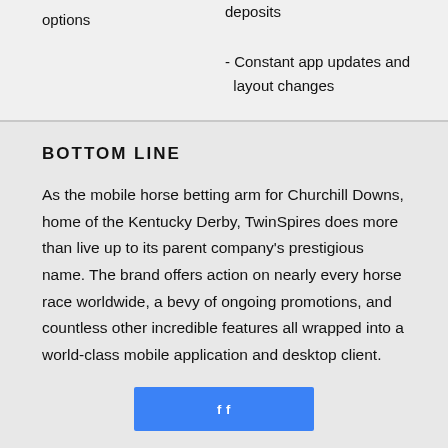options
deposits
- Constant app updates and layout changes
BOTTOM LINE
As the mobile horse betting arm for Churchill Downs, home of the Kentucky Derby, TwinSpires does more than live up to its parent company's prestigious name. The brand offers action on nearly every horse race worldwide, a bevy of ongoing promotions, and countless other incredible features all wrapped into a world-class mobile application and desktop client.
[Figure (illustration): Blue bar with social media icons (Facebook) partially visible at bottom of page]